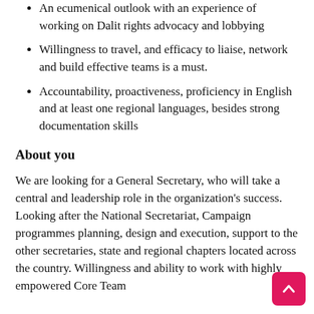An ecumenical outlook with an experience of working on Dalit rights advocacy and lobbying
Willingness to travel, and efficacy to liaise, network and build effective teams is a must.
Accountability, proactiveness, proficiency in English and at least one regional languages, besides strong documentation skills
About you
We are looking for a General Secretary, who will take a central and leadership role in the organization's success. Looking after the National Secretariat, Campaign programmes planning, design and execution, support to the other secretaries, state and regional chapters located across the country. Willingness and ability to work with highly empowered Core Team